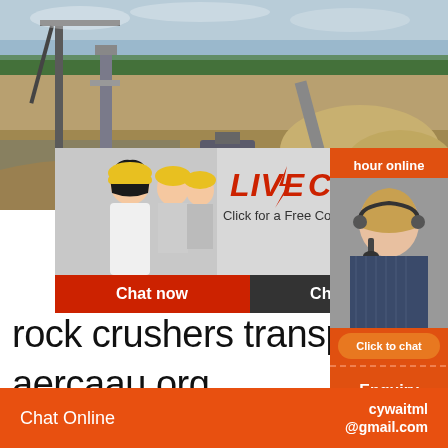[Figure (photo): Aerial/wide view of an open-pit mining and crushing facility with heavy machinery, conveyor belts, cranes, and stockpiles of material against a cloudy sky with trees in the background.]
[Figure (screenshot): Live chat popup overlay showing workers in yellow hard hats, 'LIVE CHAT' in red italic bold text, 'Click for a Free Consultation' subtitle, red 'Chat now' button and dark 'Chat later' button, with a close (X) circle button.]
[Figure (photo): Right side orange panel showing 'hour online' text, a female customer service agent wearing a headset, an orange 'Click to chat' rounded button, and an 'Enquiry' label with dashed border.]
rock crushers transportable aercaau.org
rock crushers transportable. AS a leading g manufacturer of crushing and milling equip
Chat Online   cywaitml @gmail.com